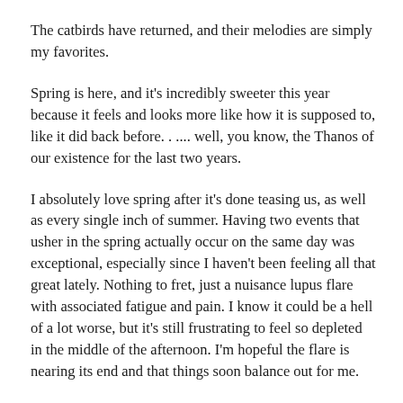The catbirds have returned, and their melodies are simply my favorites.
Spring is here, and it's incredibly sweeter this year because it feels and looks more like how it is supposed to, like it did back before. . .... well, you know, the Thanos of our existence for the last two years.
I absolutely love spring after it's done teasing us, as well as every single inch of summer. Having two events that usher in the spring actually occur on the same day was exceptional, especially since I haven't been feeling all that great lately. Nothing to fret, just a nuisance lupus flare with associated fatigue and pain. I know it could be a hell of a lot worse, but it's still frustrating to feel so depleted in the middle of the afternoon. I'm hopeful the flare is nearing its end and that things soon balance out for me.